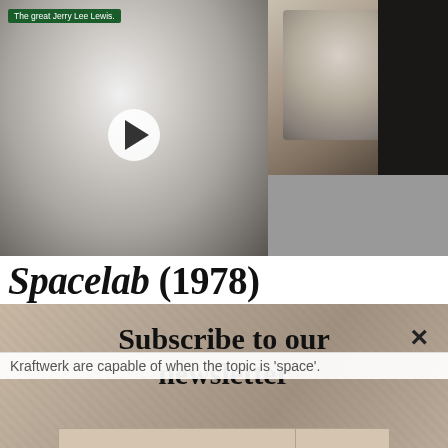[Figure (photo): Black and white photo of Jerry Lee Lewis smiling, with a green badge label reading 'The great Jerry Lee Lewis.' and a play button overlay. Adjacent to a vintage black and white portrait photo of a man in formal attire with a handwritten signature.]
The great Jerry Lee Lewis.
Spacelab (1978)
[Figure (other): Newsletter subscription overlay with beige/stone textured background, showing 'Subscribe to our newsletter' heading, an email input field, a SIGN UP button, and a close X button.]
Kraftwerk are capable of when the topic is 'space'.
The track wasn't even picked up as a single from 1978's The Man-Machine but it has taken on a life of its own and become one of the fan favourites. 'Spacelab' was named after the reusable laboratory being developed